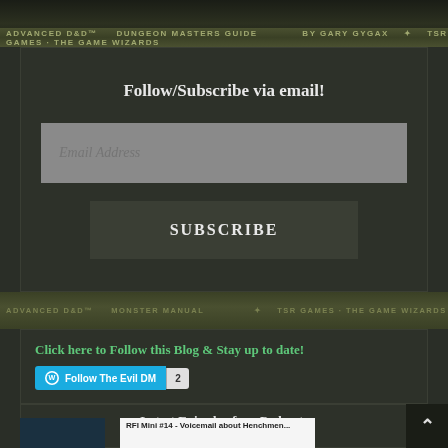[Figure (photo): Book spine of Advanced D&D Dungeon Masters Guide at top of page]
Follow/Subscribe via email!
Email Address
SUBSCRIBE
[Figure (photo): Book spine of Advanced D&D Monster Manual in middle of page]
Click here to Follow this Blog & Stay up to date!
Follow The Evil DM  2
Latest Episode of my Podcast:
RFI Mini #14 - Voicemail about Henchmen...